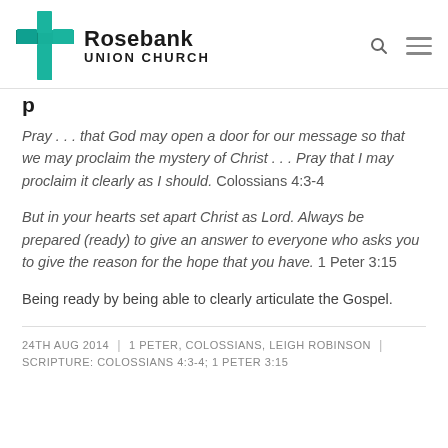[Figure (logo): Rosebank Union Church logo with teal cross icon and text 'Rosebank UNION CHURCH']
Pray . . . that God may open a door for our message so that we may proclaim the mystery of Christ . . . Pray that I may proclaim it clearly as I should. Colossians 4:3-4
But in your hearts set apart Christ as Lord. Always be prepared (ready) to give an answer to everyone who asks you to give the reason for the hope that you have. 1 Peter 3:15
Being ready by being able to clearly articulate the Gospel.
24TH AUG 2014 | 1 PETER, COLOSSIANS, LEIGH ROBINSON | SCRIPTURE: COLOSSIANS 4:3-4; 1 PETER 3:15